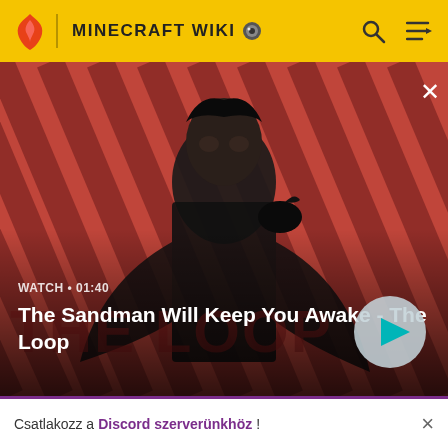MINECRAFT WIKI
[Figure (screenshot): Video thumbnail overlay showing a dark-robed figure with a crow on their shoulder against a red striped background. Text reads: WATCH • 01:40, The Sandman Will Keep You Awake - The Loop. Includes a play button.]
| MineCraft Server | quick and easy interface for creating, editing and running servers. |  |
Csatlakozz a Discord szerverünkhöz!